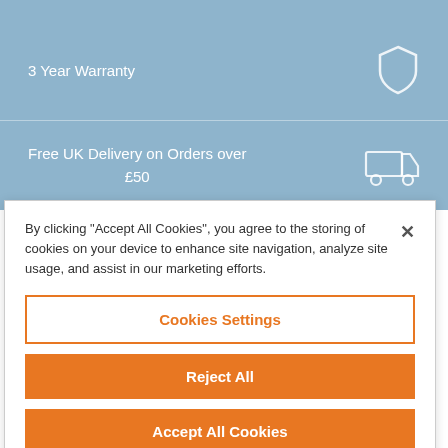3 Year Warranty
[Figure (illustration): Shield icon (outline, white)]
Free UK Delivery on Orders over £50
[Figure (illustration): Delivery truck icon (outline, white)]
By clicking "Accept All Cookies", you agree to the storing of cookies on your device to enhance site navigation, analyze site usage, and assist in our marketing efforts.
Cookies Settings
Reject All
Accept All Cookies